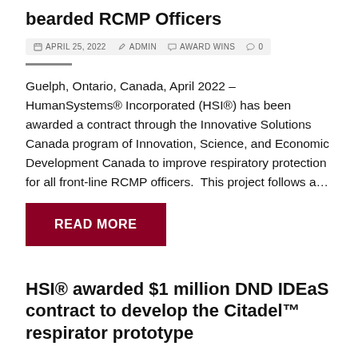bearded RCMP Officers
APRIL 25, 2022  ADMIN  AWARD WINS  0
Guelph, Ontario, Canada, April 2022 – HumanSystems® Incorporated (HSI®) has been awarded a contract through the Innovative Solutions Canada program of Innovation, Science, and Economic Development Canada to improve respiratory protection for all front-line RCMP officers.  This project follows a…
READ MORE
HSI® awarded $1 million DND IDEaS contract to develop the Citadel™ respirator prototype